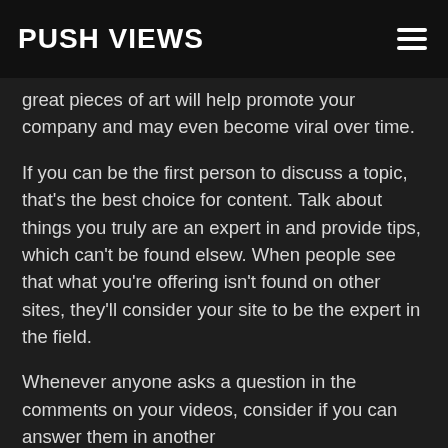Push Views
great pieces of art will help promote your company and may even become viral over time.
If you can be the first person to discuss a topic, that's the best choice for content. Talk about things you truly are an expert in and provide tips, which can't be found elsew. When people see that what you're offering isn't found on other sites, they'll consider your site to be the expert in the field.
Whenever anyone asks a question in the comments on your videos, consider if you can answer them in another